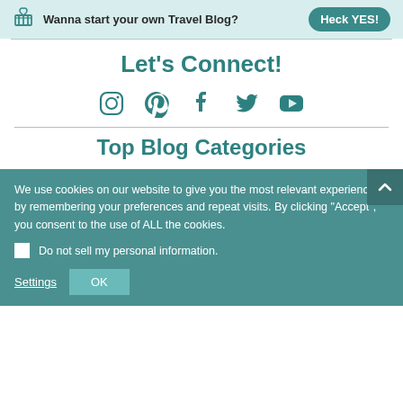Wanna start your own Travel Blog? Heck YES!
Let's Connect!
[Figure (illustration): Social media icons row: Instagram, Pinterest, Facebook, Twitter, YouTube in teal color]
Top Blog Categories
We use cookies on our website to give you the most relevant experience by remembering your preferences and repeat visits. By clicking “Accept”, you consent to the use of ALL the cookies.
Do not sell my personal information.
Settings  OK